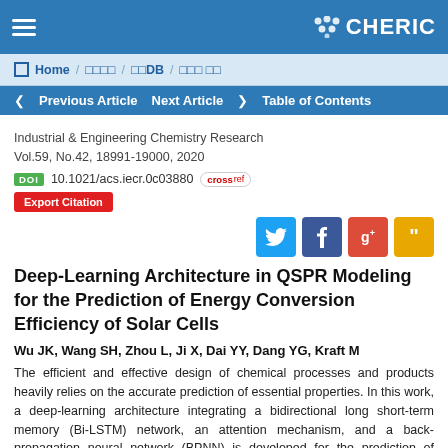CHERIC
Home / 학술지DB / 논문DB / 논문 검색
Previous Article  Next Article  Table of Contents
Industrial & Engineering Chemistry Research
Vol.59, No.42, 18991-19000, 2020
DOI 10.1021/acs.iecr.0c03880
Export Citation
Deep-Learning Architecture in QSPR Modeling for the Prediction of Energy Conversion Efficiency of Solar Cells
Wu JK, Wang SH, Zhou L, Ji X, Dai YY, Dang YG, Kraft M
The efficient and effective design of chemical processes and products heavily relies on the accurate prediction of essential properties. In this work, a deep-learning architecture integrating a bidirectional long short-term memory (Bi-LSTM) network, an attention mechanism, and a back-propagation neural network (BPNN) is developed for the prediction of energy conversion efficiency of organic solar cells. Inspired by the success of artificial